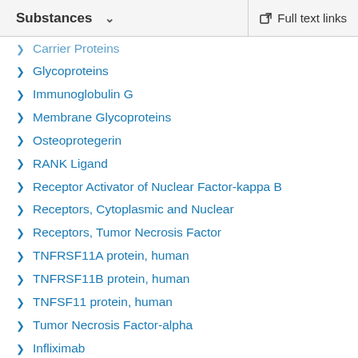Substances | Full text links
Carrier Proteins
Glycoproteins
Immunoglobulin G
Membrane Glycoproteins
Osteoprotegerin
RANK Ligand
Receptor Activator of Nuclear Factor-kappa B
Receptors, Cytoplasmic and Nuclear
Receptors, Tumor Necrosis Factor
TNFRSF11A protein, human
TNFRSF11B protein, human
TNFSF11 protein, human
Tumor Necrosis Factor-alpha
Infliximab
Etanercept
Related information